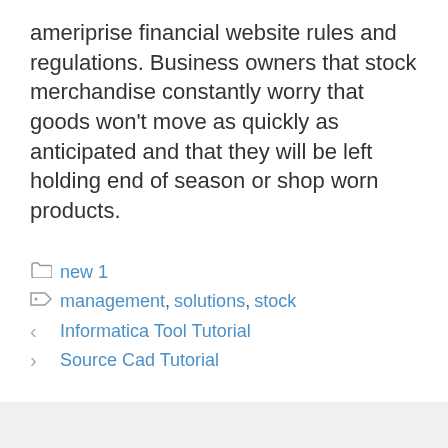ameriprise financial website rules and regulations. Business owners that stock merchandise constantly worry that goods won't move as quickly as anticipated and that they will be left holding end of season or shop worn products.
new 1
management, solutions, stock
< Informatica Tool Tutorial
> Source Cad Tutorial
Tinggalkan komentar